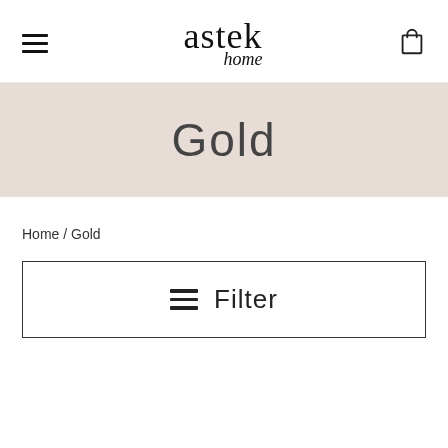astek home
Gold
Home / Gold
Filter